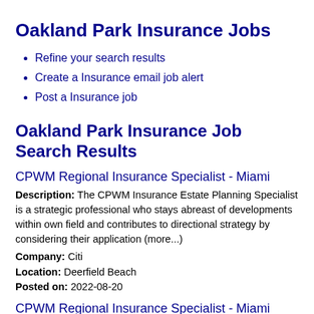Oakland Park Insurance Jobs
Refine your search results
Create a Insurance email job alert
Post a Insurance job
Oakland Park Insurance Job Search Results
CPWM Regional Insurance Specialist - Miami
Description: The CPWM Insurance Estate Planning Specialist is a strategic professional who stays abreast of developments within own field and contributes to directional strategy by considering their application (more...)
Company: Citi
Location: Deerfield Beach
Posted on: 2022-08-20
CPWM Regional Insurance Specialist - Miami
Description: The CPWM Insurance Estate Planning Specialist